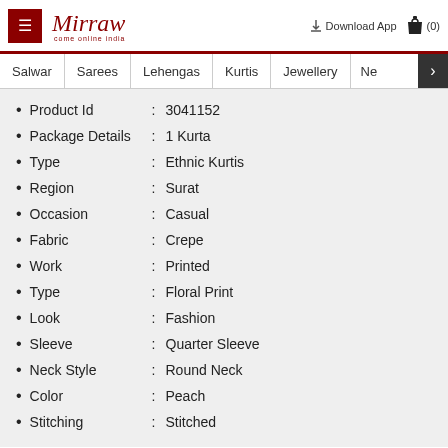Mirraw - Download App - Cart (0)
Salwar | Sarees | Lehengas | Kurtis | Jewellery | Ne >
Product Id : 3041152
Package Details : 1 Kurta
Type : Ethnic Kurtis
Region : Surat
Occasion : Casual
Fabric : Crepe
Work : Printed
Type : Floral Print
Look : Fashion
Sleeve : Quarter Sleeve
Neck Style : Round Neck
Color : Peach
Stitching : Stitched